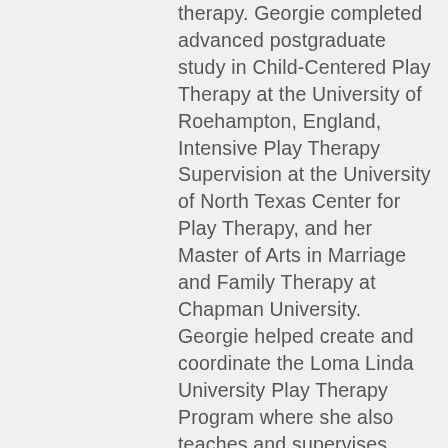therapy. Georgie completed advanced postgraduate study in Child-Centered Play Therapy at the University of Roehampton, England, Intensive Play Therapy Supervision at the University of North Texas Center for Play Therapy, and her Master of Arts in Marriage and Family Therapy at Chapman University. Georgie helped create and coordinate the Loma Linda University Play Therapy Program where she also teaches and supervises graduate students as an adjunct faculty member.